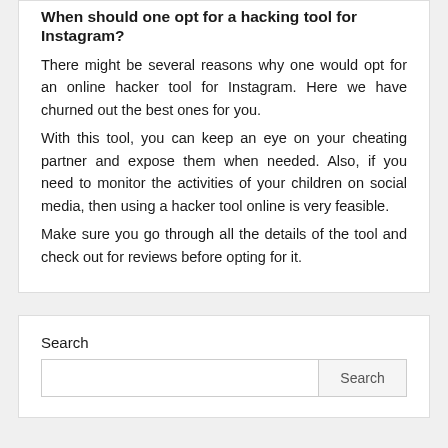When should one opt for a hacking tool for Instagram?
There might be several reasons why one would opt for an online hacker tool for Instagram. Here we have churned out the best ones for you.
With this tool, you can keep an eye on your cheating partner and expose them when needed. Also, if you need to monitor the activities of your children on social media, then using a hacker tool online is very feasible.
Make sure you go through all the details of the tool and check out for reviews before opting for it.
Search